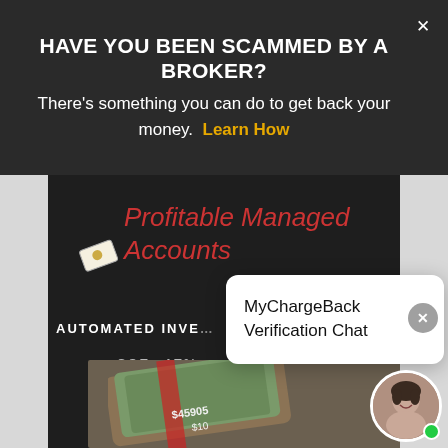HAVE YOU BEEN SCAMMED BY A BROKER?
There's something you can do to get back your money. Learn How
[Figure (screenshot): Dark-themed advertisement panel for 'Profitable Managed Accounts' showing 205.45% net returns, automated investing, money imagery, and a MyChargeBack Verification Chat popup with agent avatar.]
Profitable Managed Accounts
205.45% net returns
AUTOMATED INVESTING
MAKING
MyChargeBack Verification Chat